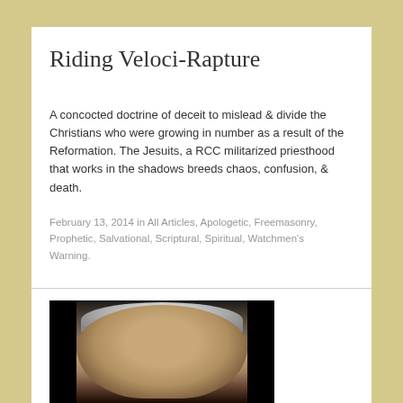Riding Veloci-Rapture
A concocted doctrine of deceit to mislead & divide the Christians who were growing in number as a result of the Reformation. The Jesuits, a RCC militarized priesthood that works in the shadows breeds chaos, confusion, & death.
February 13, 2014 in All Articles, Apologetic, Freemasonry, Prophetic, Salvational, Scriptural, Spiritual, Watchmen's Warning.
[Figure (photo): Photograph of a man with grey hair against a dark/studio background]